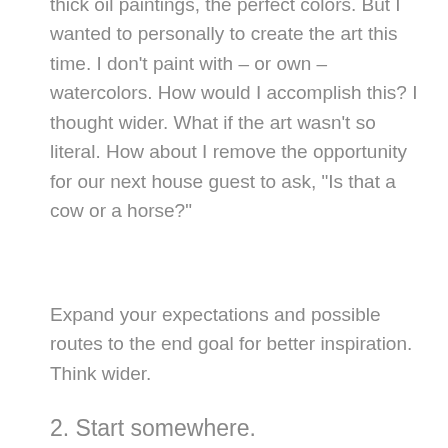thick oil paintings, the perfect colors. But I wanted to personally to create the art this time. I don’t paint with – or own – watercolors. How would I accomplish this? I thought wider. What if the art wasn’t so literal. How about I remove the opportunity for our next house guest to ask, “Is that a cow or a horse?”
Expand your expectations and possible routes to the end goal for better inspiration. Think wider.
2. Start somewhere.